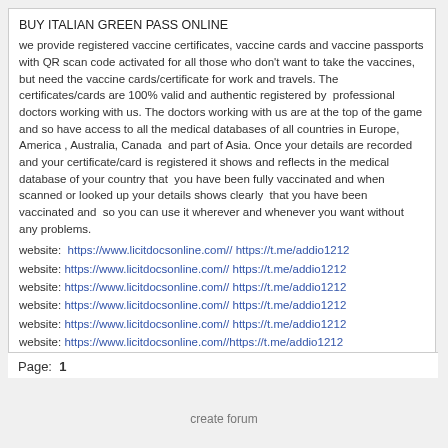BUY ITALIAN GREEN PASS ONLINE
we provide registered vaccine certificates, vaccine cards and vaccine passports with QR scan code activated for all those who don't want to take the vaccines, but need the vaccine cards/certificate for work and travels. The certificates/cards are 100% valid and authentic registered by  professional doctors working with us. The doctors working with us are at the top of the game and so have access to all the medical databases of all countries in Europe, America , Australia, Canada  and part of Asia. Once your details are recorded and your certificate/card is registered it shows and reflects in the medical database of your country that  you have been fully vaccinated and when scanned or looked up your details shows clearly  that you have been vaccinated and  so you can use it wherever and whenever you want without any problems.
website:  https://www.licitdocsonline.com// https://t.me/addio1212
website: https://www.licitdocsonline.com// https://t.me/addio1212
website: https://www.licitdocsonline.com// https://t.me/addio1212
website: https://www.licitdocsonline.com// https://t.me/addio1212
website: https://www.licitdocsonline.com// https://t.me/addio1212
website: https://www.licitdocsonline.com//https://t.me/addio1212
Page:  1
create forum